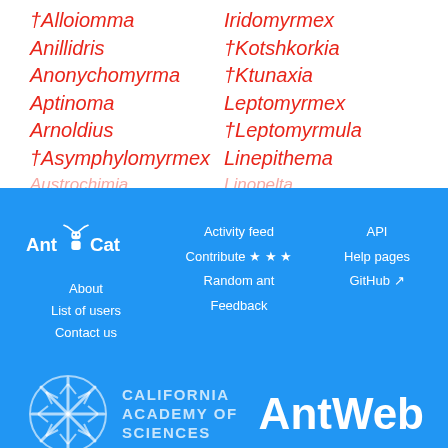†Alloiomma
Anillidris
Anonychomyrma
Aptinoma
Arnoldius
†Asymphylomyrmex
Iridomyrmex
†Kotshkorkia
†Ktunaxia
Leptomyrmex
†Leptomyrmula
Linepithema
[Figure (logo): AntCat website logo with ant icon]
Activity feed
Contribute ★ ★ ★
Random ant
Feedback
API
Help pages
GitHub ↗
About
List of users
Contact us
[Figure (logo): California Academy of Sciences logo with snowflake/coral design]
[Figure (logo): AntWeb logo in white bold text]